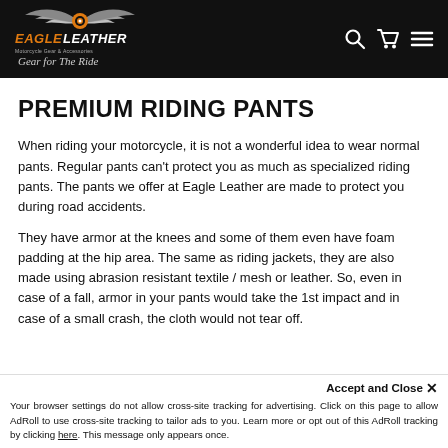Eagle Leather — Motorcycle Gear & Accessories — Gear for the Ride
PREMIUM RIDING PANTS
When riding your motorcycle, it is not a wonderful idea to wear normal pants. Regular pants can't protect you as much as specialized riding pants. The pants we offer at Eagle Leather are made to protect you during road accidents.
They have armor at the knees and some of them even have foam padding at the hip area. The same as riding jackets, they are also made using abrasion resistant textile / mesh or leather. So, even in case of a fall, armor in your pants would take the 1st impact and in case of a small crash, the cloth would not tear off.
Accept and Close ✕ Your browser settings do not allow cross-site tracking for advertising. Click on this page to allow AdRoll to use cross-site tracking to tailor ads to you. Learn more or opt out of this AdRoll tracking by clicking here. This message only appears once.